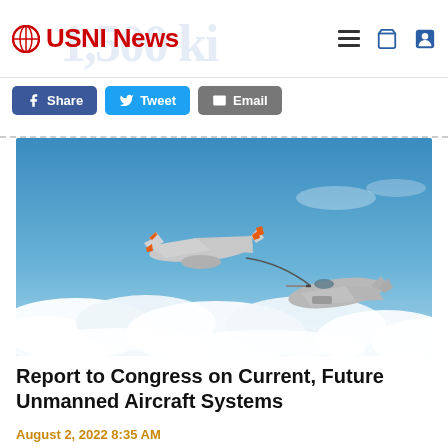USNI News
[Figure (screenshot): Facebook Share button, Twitter Tweet button, Email button]
[Figure (photo): A Boeing MQ-25 Stingray unmanned aerial refueling drone connected via fuel hose to an F/A-18 Super Hornet fighter jet in flight above clouds against a blue sky.]
Report to Congress on Current, Future Unmanned Aircraft Systems
August 2, 2022 8:35 AM